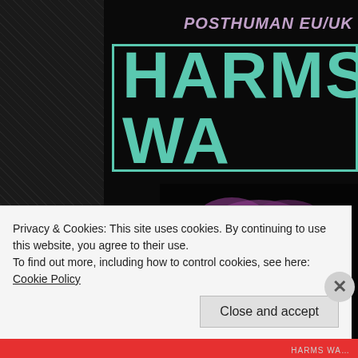POSTHUMAN EU/UK 2018
HARMS WA
[Figure (illustration): A creature with purple/violet hair and a rocky, organic body featuring a dark star-shaped hole in the center, set against a black background.]
Privacy & Cookies: This site uses cookies. By continuing to use this website, you agree to their use.
To find out more, including how to control cookies, see here: Cookie Policy
Close and accept